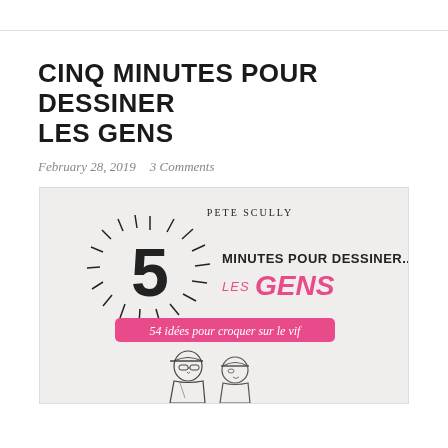CINQ MINUTES POUR DESSINER LES GENS
February 28, 2019   3 Comments
[Figure (illustration): Book cover for 'Cinq minutes pour dessiner les gens' by Pete Scully. Shows a large '5' with radiating lines like a burst, text 'MINUTES POUR DESSINER... LES GENS' with pink/magenta colored LES GENS, a pink banner reading '54 idées pour croquer sur le vif', and sketched illustration of two people at the bottom.]